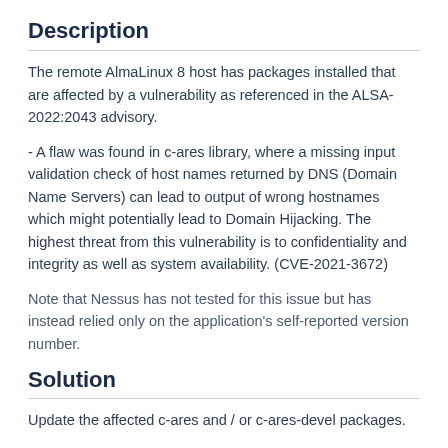Description
The remote AlmaLinux 8 host has packages installed that are affected by a vulnerability as referenced in the ALSA-2022:2043 advisory.
- A flaw was found in c-ares library, where a missing input validation check of host names returned by DNS (Domain Name Servers) can lead to output of wrong hostnames which might potentially lead to Domain Hijacking. The highest threat from this vulnerability is to confidentiality and integrity as well as system availability. (CVE-2021-3672)
Note that Nessus has not tested for this issue but has instead relied only on the application's self-reported version number.
Solution
Update the affected c-ares and / or c-ares-devel packages.
See Also